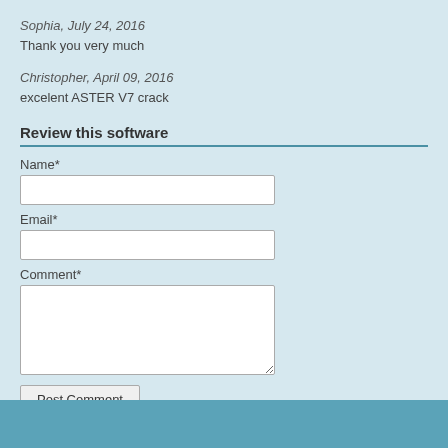Sophia, July 24, 2016
Thank you very much
Christopher, April 09, 2016
excelent ASTER V7 crack
Review this software
Name*
Email*
Comment*
Post Comment